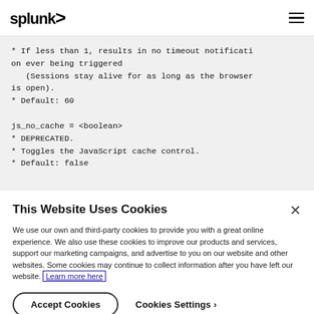splunk>
* If less than 1, results in no timeout notification ever being triggered
   (Sessions stay alive for as long as the browser is open).
* Default: 60

js_no_cache = <boolean>
* DEPRECATED.
* Toggles the JavaScript cache control.
* Default: false
This Website Uses Cookies
We use our own and third-party cookies to provide you with a great online experience. We also use these cookies to improve our products and services, support our marketing campaigns, and advertise to you on our website and other websites. Some cookies may continue to collect information after you have left our website. Learn more here
Accept Cookies  Cookies Settings ›